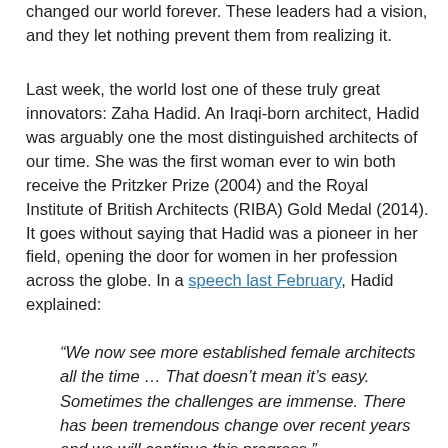changed our world forever. These leaders had a vision, and they let nothing prevent them from realizing it.
Last week, the world lost one of these truly great innovators: Zaha Hadid. An Iraqi-born architect, Hadid was arguably one the most distinguished architects of our time. She was the first woman ever to win both receive the Pritzker Prize (2004) and the Royal Institute of British Architects (RIBA) Gold Medal (2014). It goes without saying that Hadid was a pioneer in her field, opening the door for women in her profession across the globe. In a speech last February, Hadid explained:
“We now see more established female architects all the time … That doesn’t mean it’s easy. Sometimes the challenges are immense. There has been tremendous change over recent years and we will continue this progress.”